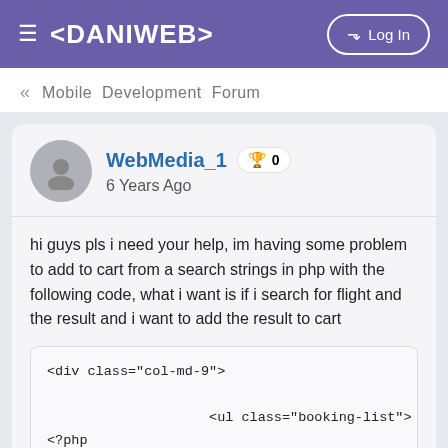≡ <DANIWEB>  ➔ Log In
« Mobile Development Forum
WebMedia_1  🏆 0  6 Years Ago
hi guys pls i need your help, im having some problem to add to cart from a search strings in php with the following code, what i want is if i search for flight and the result and i want to add the result to cart
<div class="col-md-9">

                    <ul class="booking-list">
<?php
if ($_REQUEST["string"]<>'') {
    $search_string = " AND (flight_date LIKE